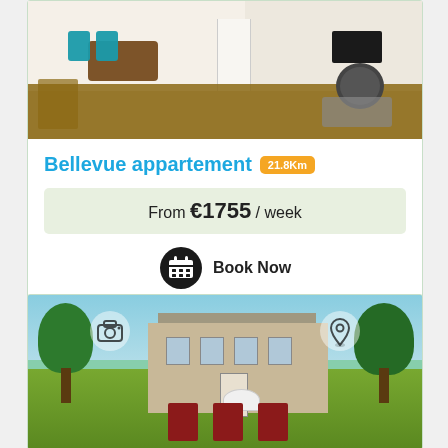[Figure (photo): Interior photo of Bellevue appartement showing living/dining area with teal chairs, wooden floor, and TV on stand]
Bellevue appartement 21.8Km
From €1755 / week
Book Now
[Figure (photo): Exterior photo of a French stone chateau with lawn, red lounger chairs, umbrella, and trees in background]